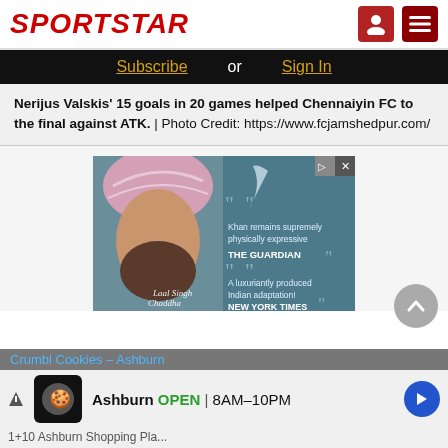SPORTSTAR
Subscribe or Sign In
Nerijus Valskis' 15 goals in 20 games helped Chennaiyin FC to the final against ATK. | Photo Credit: https://www.fcjamshedpur.com/
[Figure (photo): Advertisement for Laal Singh Chaddha movie showing a Sikh man with pink turban and beard, with quotes from The Guardian ('Khan remains supremely physically expressive') and New York Times ('A luxuriantly produced Indian adaptation!')]
[Figure (infographic): Bottom advertisement for Crumbl Cookies in Ashburn showing logo, OPEN 8AM-10PM text, and navigation arrow]